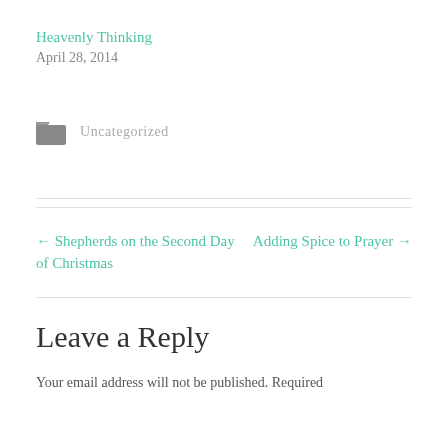Heavenly Thinking
April 28, 2014
Uncategorized
← Shepherds on the Second Day of Christmas
Adding Spice to Prayer →
Leave a Reply
Your email address will not be published. Required